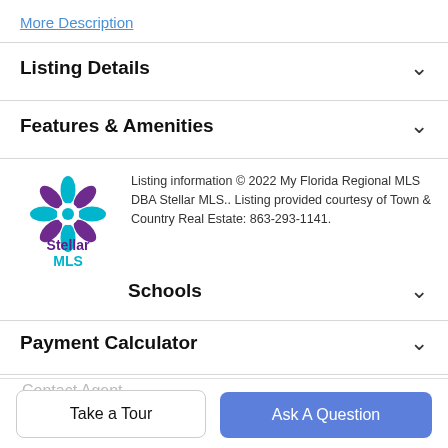More Description
Listing Details
Features & Amenities
[Figure (logo): Stellar MLS logo — stylized snowflake/star in teal and purple colors with 'Stellar MLS' text in purple/teal below]
Listing information © 2022 My Florida Regional MLS DBA Stellar MLS.. Listing provided courtesy of Town & Country Real Estate: 863-293-1141.
Schools
Payment Calculator
Contact Agent
Take a Tour
Ask A Question